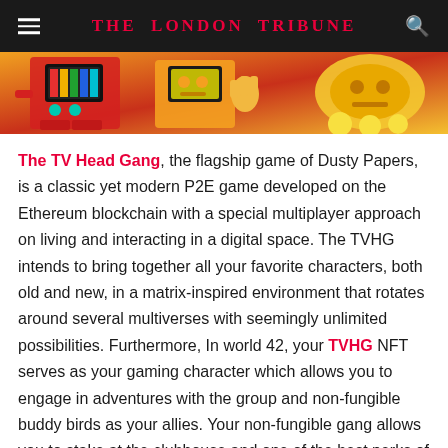The London Tribune
[Figure (illustration): Colorful cartoon characters with TV heads in orange, red, and yellow tones — game artwork for TV Head Gang]
The TV Head Gang, the flagship game of Dusty Papers, is a classic yet modern P2E game developed on the Ethereum blockchain with a special multiplayer approach on living and interacting in a digital space. The TVHG intends to bring together all your favorite characters, both old and new, in a matrix-inspired environment that rotates around several multiverses with seemingly unlimited possibilities. Furthermore, In world 42, your TVHG NFT serves as your gaming character which allows you to engage in adventures with the group and non-fungible buddy birds as your allies. Your non-fungible gang allows you to stake at the clubhouse and one of the best perks of this gang is that it grants you immediate access to all Dusty Papers future releases.